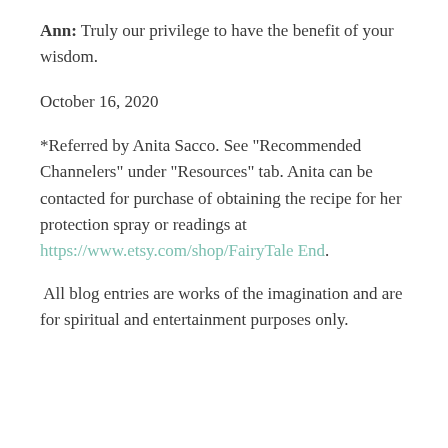Ann:  Truly our privilege to have the benefit of your wisdom.
October 16, 2020
*Referred by Anita Sacco.  See "Recommended Channelers" under "Resources" tab. Anita can be contacted for purchase of obtaining the recipe for her protection spray or readings at https://www.etsy.com/shop/FairyTaleEnd.
All blog entries are works of the imagination and are for spiritual and entertainment purposes only.